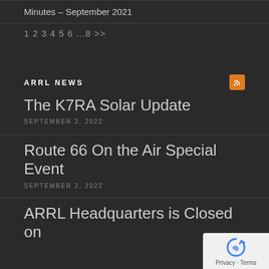Minutes – September 2021
1 2 3 4 5 6 ...8 >>
ARRL NEWS
The K7RA Solar Update
SEPTEMBER 2, 2022
Route 66 On the Air Special Event
SEPTEMBER 2, 2022
ARRL Headquarters is Closed on